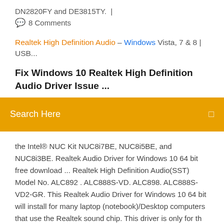DN2820FY and DE3815TY.  |
🗨 8 Comments
Realtek High Definition Audio – Windows Vista, 7 & 8 | USB...
Fix Windows 10 Realtek High Definition Audio Driver Issue ...
Search Here
the Intel® NUC Kit NUC8i7BE, NUC8i5BE, and NUC8i3BE. Realtek Audio Driver for Windows 10 64 bit free download ... Realtek High Definition Audio(SST) Model No. ALC892 . ALC888S-VD. ALC898. ALC888S-VD2-GR. This Realtek Audio Driver for Windows 10 64 bit will install for many laptop (notebook)/Desktop computers that use the Realtek sound chip. This driver is only for th ... Realtek High Definition Audio Driver for Windows 10 (64-bit ...